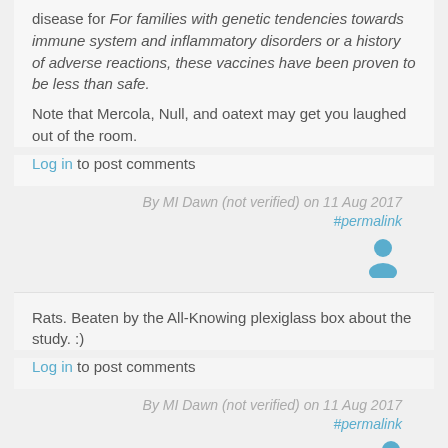disease for For families with genetic tendencies towards immune system and inflammatory disorders or a history of adverse reactions, these vaccines have been proven to be less than safe.

Note that Mercola, Null, and oatext may get you laughed out of the room.
Log in to post comments
By MI Dawn (not verified) on 11 Aug 2017
#permalink
[Figure (illustration): User avatar icon in blue]
Rats. Beaten by the All-Knowing plexiglass box about the study. :)
Log in to post comments
By MI Dawn (not verified) on 11 Aug 2017
#permalink
[Figure (illustration): User avatar icon in blue (partial, clipped)]